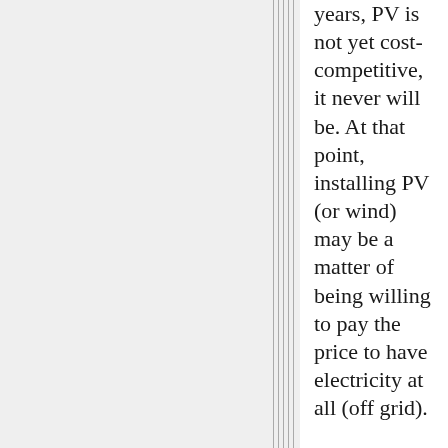years, PV is not yet cost-competitive, it never will be. At that point, installing PV (or wind) may be a matter of being willing to pay the price to have electricity at all (off grid).
In my location, a theoretically ideal system would probably include a small wind turbine b...